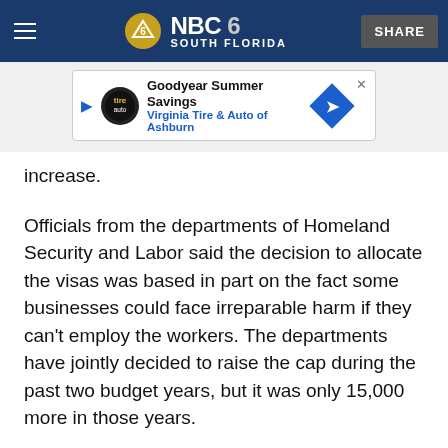NBC 6 South Florida — SHARE
[Figure (other): Advertisement banner: Goodyear Summer Savings — Virginia Tire & Auto of Ashburn]
increase.
Officials from the departments of Homeland Security and Labor said the decision to allocate the visas was based in part on the fact some businesses could face irreparable harm if they can't employ the workers. The departments have jointly decided to raise the cap during the past two budget years, but it was only 15,000 more in those years.
The acting Homeland Security secretary, Kevin McAleenan, said the additional visas were a temporary fix.
He said his department wants lawmakers to pursue a long...